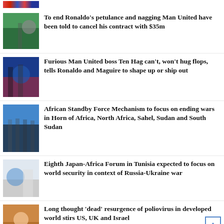[Figure (photo): Colorful strip/banner at very top]
To end Ronaldo’s petulance and nagging Man United have been told to cancel his contract with $35m
Furious Man United boss Ten Hag can’t, won’t hug flops, tells Ronaldo and Maguire to shape up or ship out
African Standby Force Mechanism to focus on ending wars in Horn of Africa, North Africa, Sahel, Sudan and South Sudan
Eighth Japan-Africa Forum in Tunisia expected to focus on world security in context of Russia-Ukraine war
Long thought ‘dead’ resurgence of poliovirus in developed world stirs US, UK and Israel
Johnson, Ronaldo will appear on Manchester United...